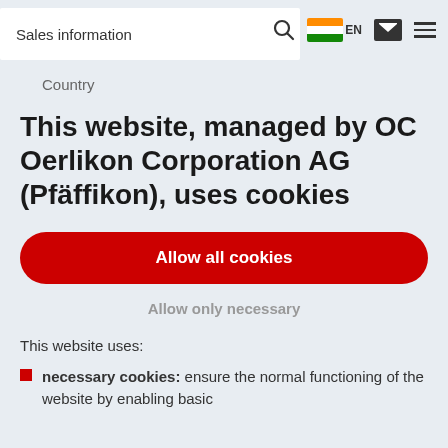Sales information
Country
This website, managed by OC Oerlikon Corporation AG (Pfäffikon), uses cookies
Allow all cookies
Allow only necessary
This website uses:
necessary cookies: ensure the normal functioning of the website by enabling basic